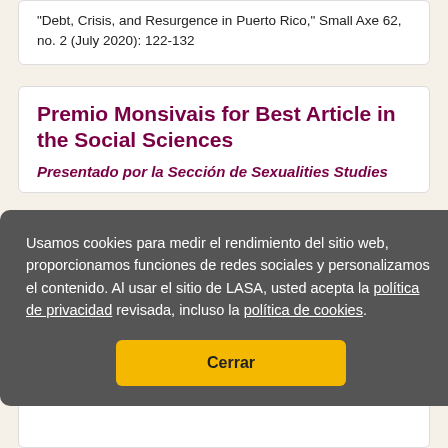"Debt, Crisis, and Resurgence in Puerto Rico," Small Axe 62, no. 2 (July 2020): 122-132
Premio Monsivais for Best Article in the Social Sciences
Presentado por la Sección de Sexualities Studies
Usamos cookies para medir el rendimiento del sitio web, proporcionamos funciones de redes sociales y personalizamos el contenido. Al usar el sitio de LASA, usted acepta la política de privacidad revisada, incluso la política de cookies.
Cerrar
a y México (1967-1984)